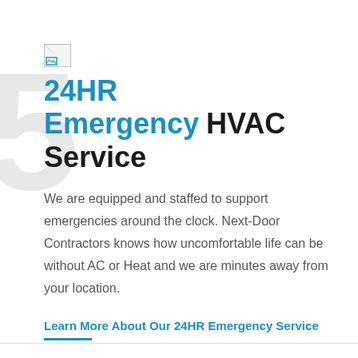[Figure (logo): Small broken image icon placeholder in top-left of content area]
24HR Emergency  HVAC Service
We are equipped and staffed to support emergencies around the clock. Next-Door Contractors knows how uncomfortable life can be without AC or Heat and we are minutes away from your location.
Learn More About Our 24HR Emergency Service